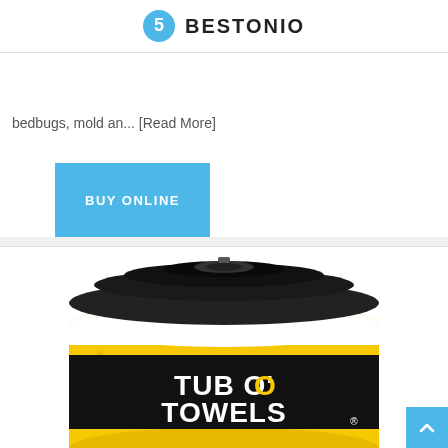BESTONIO
bedbugs, mold an... [Read More]
BUY ONLINE
[Figure (photo): Tub O' Towels cleaning wipes canister product photo with black lid and yellow label on white background]